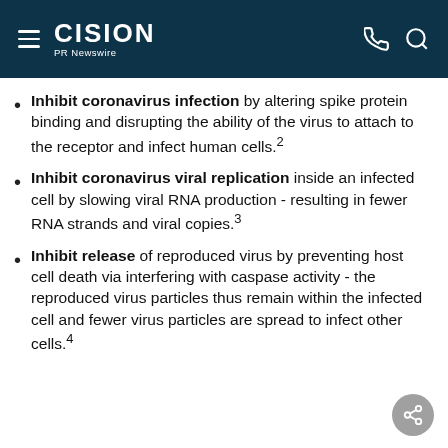CISION PR Newswire
Inhibit coronavirus infection by altering spike protein binding and disrupting the ability of the virus to attach to the receptor and infect human cells.²
Inhibit coronavirus viral replication inside an infected cell by slowing viral RNA production - resulting in fewer RNA strands and viral copies.³
Inhibit release of reproduced virus by preventing host cell death via interfering with caspase activity - the reproduced virus particles thus remain within the infected cell and fewer virus particles are spread to infect other cells.⁴